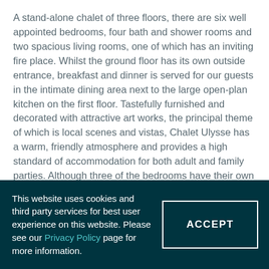A stand-alone chalet of three floors, there are six well appointed bedrooms, four bath and shower rooms and two spacious living rooms, one of which has an inviting fire place. Whilst the ground floor has its own outside entrance, breakfast and dinner is served for our guests in the intimate dining area next to the large open-plan kitchen on the first floor. Tastefully furnished and decorated with attractive art works, the principal theme of which is local scenes and vistas, Chalet Ulysse has a warm, friendly atmosphere and provides a high standard of accommodation for both adult and family parties. Although three of the bedrooms have their own TVs with DVD, each of the living rooms is also equipped with TV, DVD and a sound system with internet connectivity assured by the
This website uses cookies and third party services for best user experience on this website. Please see our Privacy Policy page for more information.